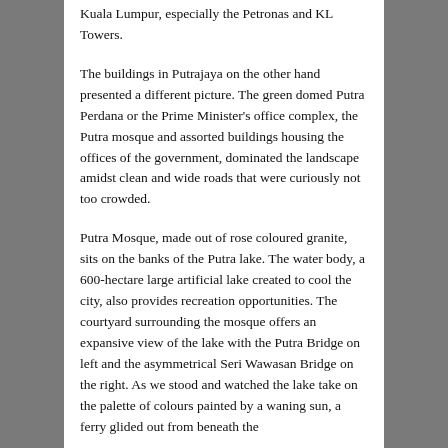Kuala Lumpur, especially the Petronas and KL Towers.
The buildings in Putrajaya on the other hand presented a different picture. The green domed Putra Perdana or the Prime Minister's office complex, the Putra mosque and assorted buildings housing the offices of the government, dominated the landscape amidst clean and wide roads that were curiously not too crowded.
Putra Mosque, made out of rose coloured granite, sits on the banks of the Putra lake. The water body, a 600-hectare large artificial lake created to cool the city, also provides recreation opportunities. The courtyard surrounding the mosque offers an expansive view of the lake with the Putra Bridge on left and the asymmetrical Seri Wawasan Bridge on the right. As we stood and watched the lake take on the palette of colours painted by a waning sun, a ferry glided out from beneath the